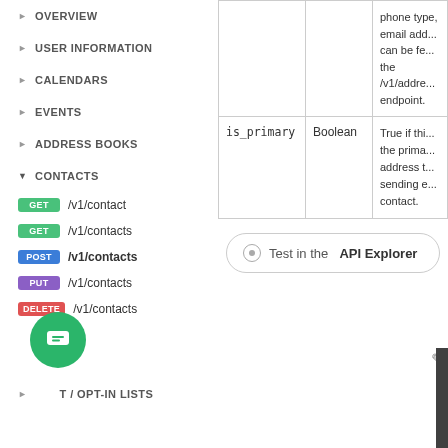OVERVIEW
USER INFORMATION
CALENDARS
EVENTS
ADDRESS BOOKS
CONTACTS
GET /v1/contact
GET /v1/contacts
POST /v1/contacts
PUT /v1/contacts
DELETE /v1/contacts
OPT-IN LISTS
| Field | Type | Description |
| --- | --- | --- |
|  |  | phone type, email add... can be fe... the /v1/addre... endpoint. |
| is_primary | Boolean | True if thi... the prima... address t... sending e... contact. |
Test in the API Explorer
Definition